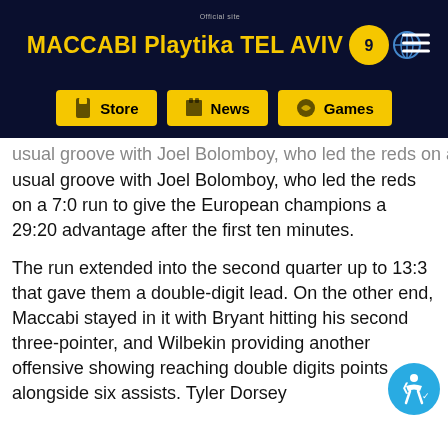Official site MACCABI Playtika TEL AVIV
Store | News | Games
… usual groove with Joel Bolomboy, who led the reds on a 7:0 run to give the European champions a 29:20 advantage after the first ten minutes.
The run extended into the second quarter up to 13:3 that gave them a double-digit lead. On the other end, Maccabi stayed in it with Bryant hitting his second three-pointer, and Wilbekin providing another offensive showing reaching double digits points alongside six assists. Tyler Dorsey